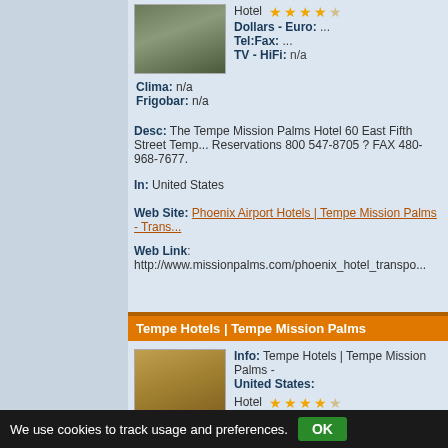Hotel ★★★★☆
Dollars - Euro: ...
Tel:Fax: ...
TV - HiFi: n/a
Clima: n/a
Frigobar: n/a
Desc: The Tempe Mission Palms Hotel 60 East Fifth Street Temp... Reservations 800 547-8705 ? FAX 480-968-7677.
In: United States
Web Site: Phoenix Airport Hotels | Tempe Mission Palms - Trans...
Web Link: http://www.missionpalms.com/phoenix_hotel_transpo...
Tempe Hotels | Tempe Mission Palms
Info: Tempe Hotels | Tempe Mission Palms - United States:
Hotel ★★★★☆
Dollars - Euro: ...
We use cookies to track usage and preferences.